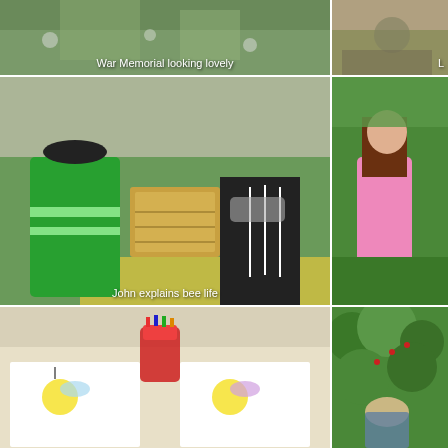[Figure (photo): Outdoor scene with War Memorial and flowers, lush greenery in background]
War Memorial looking lovely
[Figure (photo): Two people sitting indoors, partial view cropped on right side]
[Figure (photo): John in green high-visibility vest explaining bee life with a beehive display box to a man wearing a mask and black Adidas top, outdoor market setting with bunting]
John explains bee life
[Figure (photo): Young girl in pink dress looking at something outdoors in a garden]
[Figure (photo): Close-up of bee colouring-in sheets with crayon pot on a table]
[Figure (photo): Person sitting among green bushes/hedges outdoors]